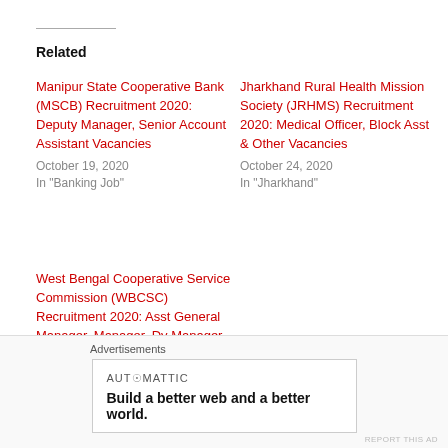Related
Manipur State Cooperative Bank (MSCB) Recruitment 2020: Deputy Manager, Senior Account Assistant Vacancies
October 19, 2020
In "Banking Job"
Jharkhand Rural Health Mission Society (JRHMS) Recruitment 2020: Medical Officer, Block Asst & Other Vacancies
October 24, 2020
In "Jharkhand"
West Bengal Cooperative Service Commission (WBCSC) Recruitment 2020: Asst General Manager, Manager, Dy Manager (Acct.) Gr-I & Other Vacancies
October 30, 2020
In "Banking Job"
Advertisements
[Figure (logo): Automattic logo with tagline: Build a better web and a better world.]